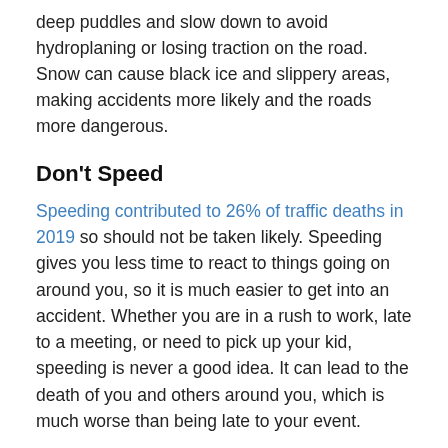deep puddles and slow down to avoid hydroplaning or losing traction on the road. Snow can cause black ice and slippery areas, making accidents more likely and the roads more dangerous.
Don't Speed
Speeding contributed to 26% of traffic deaths in 2019 so should not be taken likely. Speeding gives you less time to react to things going on around you, so it is much easier to get into an accident. Whether you are in a rush to work, late to a meeting, or need to pick up your kid, speeding is never a good idea. It can lead to the death of you and others around you, which is much worse than being late to your event.
Schedule A Free Consultation With An Experienced Queens Car Crash Attorney